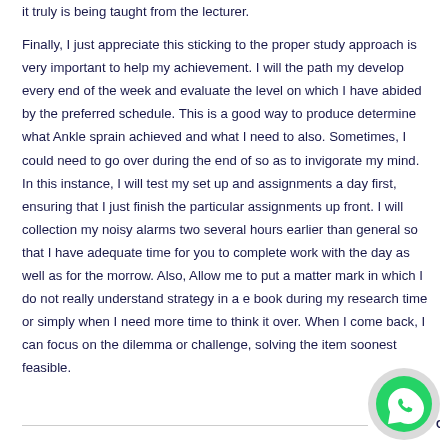it truly is being taught from the lecturer.

Finally, I just appreciate this sticking to the proper study approach is very important to help my achievement. I will the path my develop every end of the week and evaluate the level on which I have abided by the preferred schedule. This is a good way to produce determine what Ankle sprain achieved and what I need to also. Sometimes, I could need to go over during the end of so as to invigorate my mind. In this instance, I will test my set up and assignments a day first, ensuring that I just finish the particular assignments up front. I will collection my noisy alarms two several hours earlier than general so that I have adequate time for you to complete work with the day as well as for the morrow. Also, Allow me to put a matter mark in which I do not really understand strategy in a e book during my research time or simply when I need more time to think it over. When I come back, I can focus on the dilemma or challenge, solving the item soonest feasible.